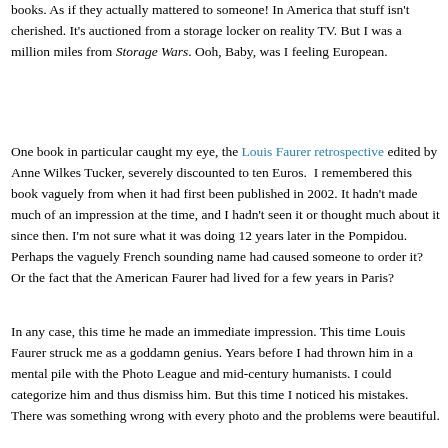books. As if they actually mattered to someone! In America that stuff isn't cherished. It's auctioned from a storage locker on reality TV. But I was a million miles from Storage Wars. Ooh, Baby, was I feeling European.
One book in particular caught my eye, the Louis Faurer retrospective edited by Anne Wilkes Tucker, severely discounted to ten Euros. I remembered this book vaguely from when it had first been published in 2002. It hadn't made much of an impression at the time, and I hadn't seen it or thought much about it since then. I'm not sure what it was doing 12 years later in the Pompidou. Perhaps the vaguely French sounding name had caused someone to order it? Or the fact that the American Faurer had lived for a few years in Paris?
In any case, this time he made an immediate impression. This time Louis Faurer struck me as a goddamn genius. Years before I had thrown him in a mental pile with the Photo League and mid-century humanists. I could categorize him and thus dismiss him. But this time I noticed his mistakes. There was something wrong with every photo and the problems were beautiful.